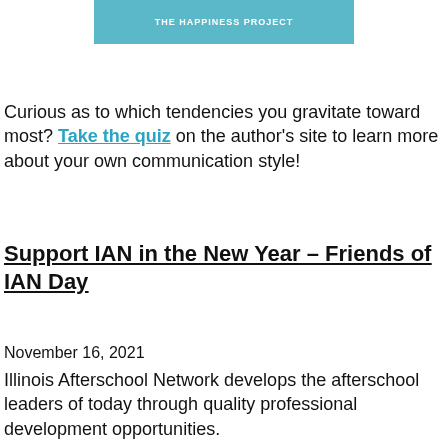[Figure (other): Book cover or banner image for The Happiness Project in teal/blue color]
Curious as to which tendencies you gravitate toward most? Take the quiz on the author's site to learn more about your own communication style!
Support IAN in the New Year – Friends of IAN Day
November 16, 2021
Illinois Afterschool Network develops the afterschool leaders of today through quality professional development opportunities.